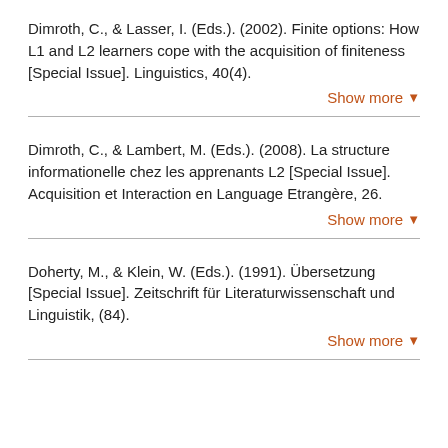Dimroth, C., & Lasser, I. (Eds.). (2002). Finite options: How L1 and L2 learners cope with the acquisition of finiteness [Special Issue]. Linguistics, 40(4).
Dimroth, C., & Lambert, M. (Eds.). (2008). La structure informationelle chez les apprenants L2 [Special Issue]. Acquisition et Interaction en Language Etrangère, 26.
Doherty, M., & Klein, W. (Eds.). (1991). Übersetzung [Special Issue]. Zeitschrift für Literaturwissenschaft und Linguistik, (84).